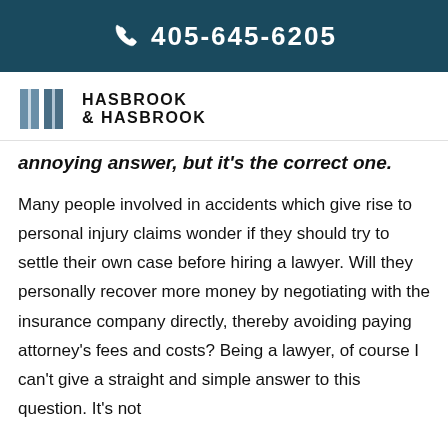405-645-6205
[Figure (logo): Hasbrook & Hasbrook law firm logo with stylized H letters icon]
annoying answer, but it’s the correct one.
Many people involved in accidents which give rise to personal injury claims wonder if they should try to settle their own case before hiring a lawyer. Will they personally recover more money by negotiating with the insurance company directly, thereby avoiding paying attorney’s fees and costs? Being a lawyer, of course I can’t give a straight and simple answer to this question. It’s not